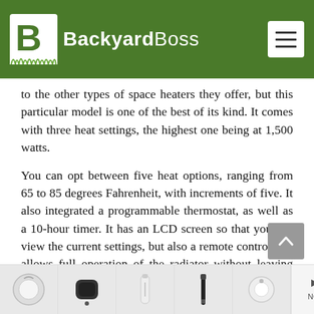BackyardBoss
to the other types of space heaters they offer, but this particular model is one of the best of its kind. It comes with three heat settings, the highest one being at 1,500 watts.
You can opt between five heat options, ranging from 65 to 85 degrees Fahrenheit, with increments of five. It also integrated a programmable thermostat, as well as a 10-hour timer. It has an LCD screen so that you can view the current settings, but also a remote control that allows full operation of the radiator without leaving your sweet spot.
[Figure (other): Advertisement banner with product thumbnails at bottom of page]